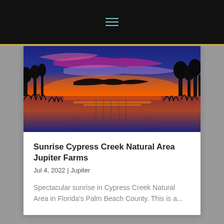[Figure (photo): Website header bar with hamburger menu icon in teal/cyan color on black background]
[Figure (photo): Spectacular sunset/sunrise panorama at Cypress Creek Natural Area in Jupiter Farms, Florida. Vivid orange and pink clouds reflected in still wetland water with silhouetted trees and marsh grass.]
Sunrise Cypress Creek Natural Area Jupiter Farms
Jul 4, 2022 | Jupiter
Spectacular sunrise in Cypress Creek Natural Area in Florida's Palm Beach County. This is a...